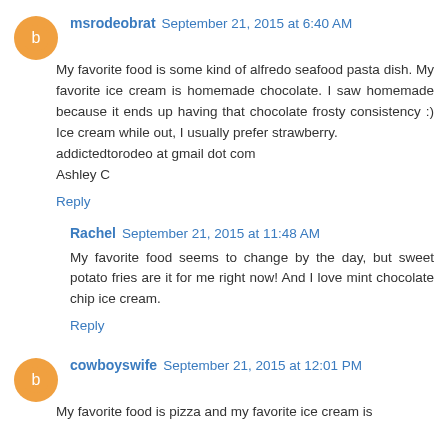msrodeobrat September 21, 2015 at 6:40 AM
My favorite food is some kind of alfredo seafood pasta dish. My favorite ice cream is homemade chocolate. I saw homemade because it ends up having that chocolate frosty consistency :) Ice cream while out, I usually prefer strawberry.
addictedtorodeo at gmail dot com
Ashley C
Reply
Rachel September 21, 2015 at 11:48 AM
My favorite food seems to change by the day, but sweet potato fries are it for me right now! And I love mint chocolate chip ice cream.
Reply
cowboyswife September 21, 2015 at 12:01 PM
My favorite food is pizza and my favorite ice cream is